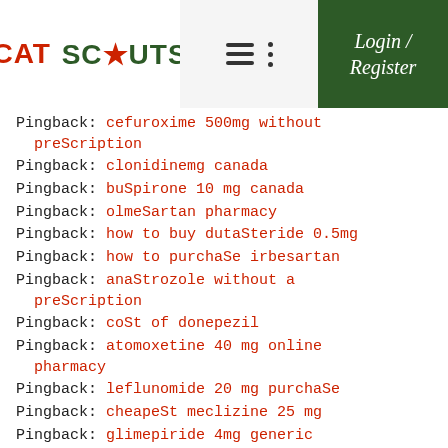CAT SCOUTS | Login / Register
Pingback: cefuroxime 500mg without prescription
Pingback: clonidinemg canada
Pingback: buspirone 10 mg canada
Pingback: olmesartan pharmacy
Pingback: how to buy dutasteride 0.5mg
Pingback: how to purchase irbesartan
Pingback: anastrozole without a prescription
Pingback: cost of donepezil
Pingback: atomoxetine 40 mg online pharmacy
Pingback: leflunomide 20 mg purchase
Pingback: cheapest meclizine 25 mg
Pingback: glimepiride 4mg generic